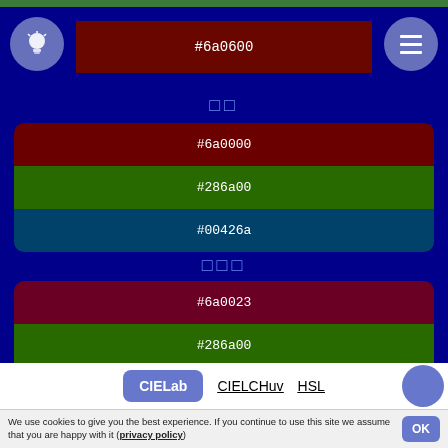[Figure (screenshot): Color palette tool showing hex color swatches on a dark blue background with two grouped color sets]
#6a0600
□□
#6a0000
#286a00
#00426a
□□□
#6a0023
#286a00
#006a4b
CIELab  CIELCHuv  HSL
We use cookies to give you the best experience. If you continue to use this site we assume that you are happy with it (privacy policy)